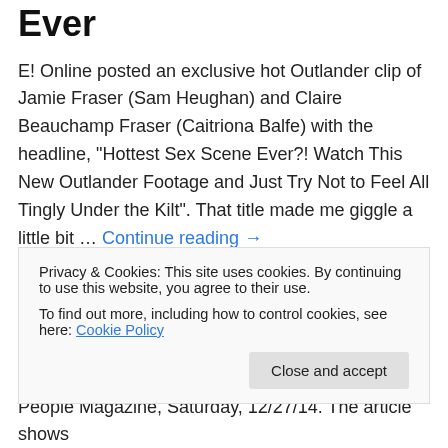Ever
E! Online posted an exclusive hot Outlander clip of Jamie Fraser (Sam Heughan) and Claire Beauchamp Fraser (Caitriona Balfe) with the headline, "Hottest Sex Scene Ever?! Watch This New Outlander Footage and Just Try Not to Feel All Tingly Under the Kilt". That title made me giggle a little bit … Continue reading →
11/02/2015   1 Reply
Something Collision Bound...
Privacy & Cookies: This site uses cookies. By continuing to use this website, you agree to their use. To find out more, including how to control cookies, see here: Cookie Policy
People Magazine, Saturday, 12/27/14. The article shows